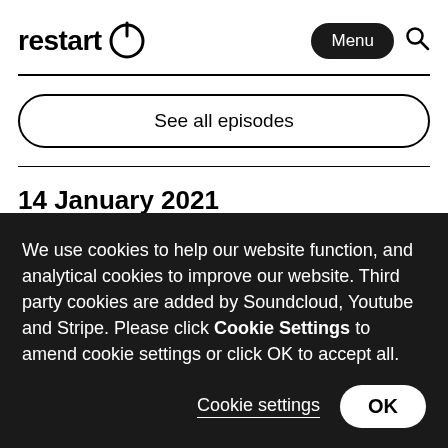[Figure (logo): restart logo with power icon]
See all episodes
14 January 2021
We use cookies to help our website function, and analytical cookies to improve our website. Third party cookies are added by Soundcloud, Youtube and Stripe. Please click Cookie Settings to amend cookie settings or click OK to accept all.
Cookie settings
OK